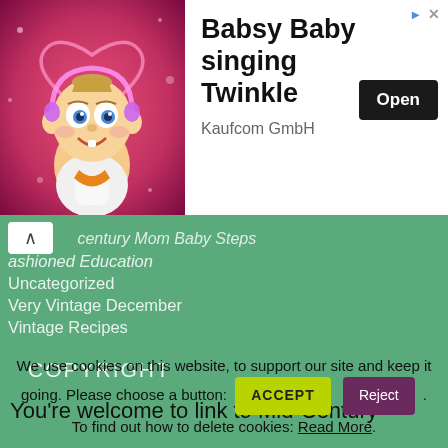[Figure (illustration): Ad banner: animated baby cartoon on pink sparkly background with heart shape, beside text 'Babsy Baby singing Twinkle', 'Kaufcom GmbH', and an 'Open' button]
century Mom Baby Steps
ashioned Education
Uncategorized
Very Vintage December
Vintage Recipes
COPYRIGHT
You’re welcome to link to Mid-Century
We use cookies on this website, to support our site and keep it going. Please choose a button: ACCEPT Reject. To find out how to delete cookies: Read More.